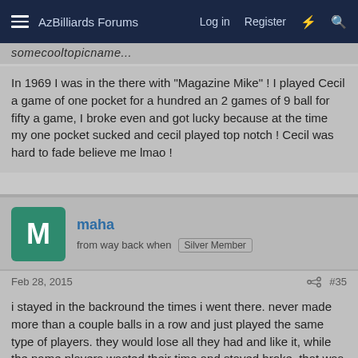AzBilliards Forums  Log in  Register
somecooltopicname or similar (truncated/cut off at top)
In 1969 I was in the there with "Magazine Mike" ! I played Cecil a game of one pocket for a hundred an 2 games of 9 ball for fifty a game, I broke even and got lucky because at the time my one pocket sucked and cecil played top notch ! Cecil was hard to fade believe me lmao !
maha
from way back when  Silver Member
Feb 28, 2015
#35
i stayed in the backround the times i went there. never made more than a couple balls in a row and just played the same type of players. they would lose all they had and like it, while the name players wasted their time and stayed broke. that was one of the all time great spots for fun and making money if you were sharp.